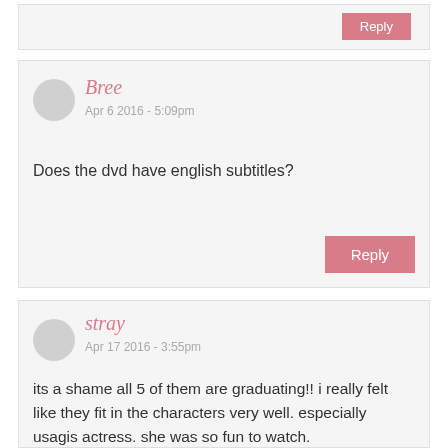Reply
Bree
Apr 6 2016 - 5:09pm
Does the dvd have english subtitles?
Reply
stray
Apr 17 2016 - 3:55pm
its a shame all 5 of them are graduating!! i really felt like they fit in the characters very well. especially usagis actress. she was so fun to watch.
i didnt seem to like this musical as much as the